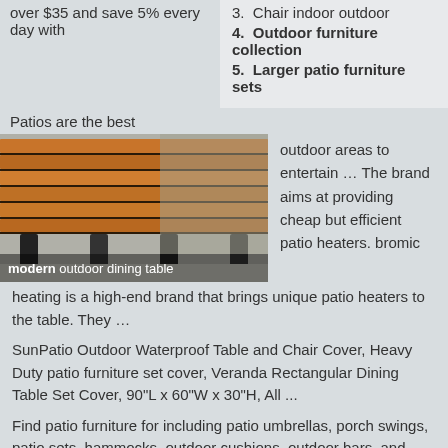over $35 and save 5% every day with
3. Chair indoor outdoor
4. Outdoor furniture collection
5. Larger patio furniture sets
Patios are the best
[Figure (photo): Close-up photo of a modern outdoor dining table with wooden slats and black metal legs, with text overlay 'modern outdoor dining table']
outdoor areas to entertain … The brand aims at providing cheap but efficient patio heaters. bromic heating is a high-end brand that brings unique patio heaters to the table. They …
SunPatio Outdoor Waterproof Table and Chair Cover, Heavy Duty patio furniture set cover, Veranda Rectangular Dining Table Set Cover, 90"L x 60"W x 30"H, All ...
Find patio furniture for including patio umbrellas, porch swings, patio sets, hammocks, outdoor cushions, outdoor bars, and